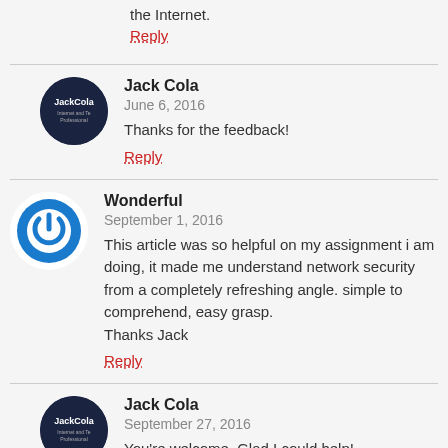the Internet.
Reply
Jack Cola
June 6, 2016
Thanks for the feedback!
Reply
Wonderful
September 1, 2016
This article was so helpful on my assignment i am doing, it made me understand network security from a completely refreshing angle. simple to comprehend, easy grasp.
Thanks Jack
Reply
Jack Cola
September 27, 2016
You're welcome. Glad I could help!